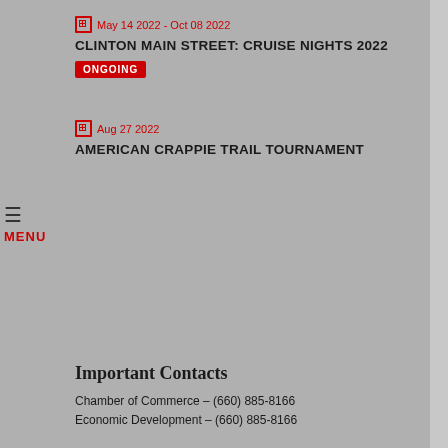May 14 2022 - Oct 08 2022
CLINTON MAIN STREET: CRUISE NIGHTS 2022
ONGOING
Aug 27 2022
AMERICAN CRAPPIE TRAIL TOURNAMENT
Important Contacts
Chamber of Commerce – (660) 885-8166
Economic Development – (660) 885-8166